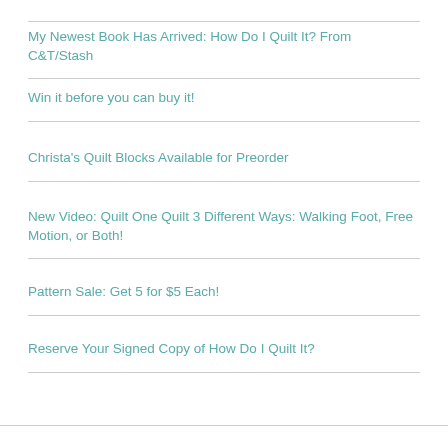My Newest Book Has Arrived: How Do I Quilt It? From C&T/Stash
Win it before you can buy it!
Christa's Quilt Blocks Available for Preorder
New Video: Quilt One Quilt 3 Different Ways: Walking Foot, Free Motion, or Both!
Pattern Sale: Get 5 for $5 Each!
Reserve Your Signed Copy of How Do I Quilt It?